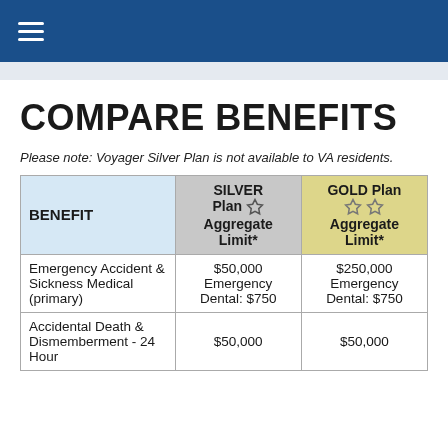COMPARE BENEFITS
Please note: Voyager Silver Plan is not available to VA residents.
| BENEFIT | SILVER Plan ☆ Aggregate Limit* | GOLD Plan ☆☆ Aggregate Limit* |
| --- | --- | --- |
| Emergency Accident & Sickness Medical (primary) | $50,000 Emergency Dental: $750 | $250,000 Emergency Dental: $750 |
| Accidental Death & Dismemberment - 24 Hour | $50,000 | $50,000 |